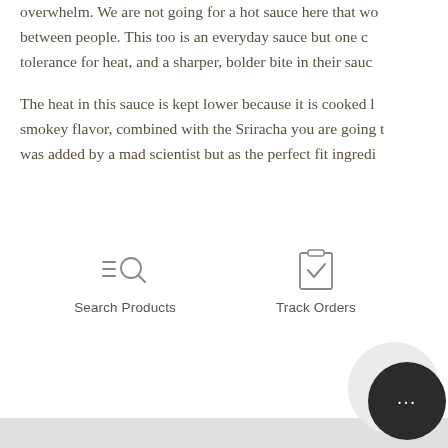overwhelm. We are not going for a hot sauce here that wo... between people. This too is an everyday sauce but one c... tolerance for heat, and a sharper, bolder bite in their sauc...
The heat in this sauce is kept lower because it is cooked l... smokey flavor, combined with the Sriracha you are going t... was added by a mad scientist but as the perfect fit ingredi...
[Figure (illustration): Search Products icon: a magnifying glass with horizontal lines on the left side, representing a search function]
Search Products
[Figure (illustration): Track Orders icon: a clipboard or document outline with a checkmark inside]
Track Orders
[Figure (illustration): Chat bubble widget in bottom right corner: dark circular button with ellipsis (…) indicating a live chat feature]